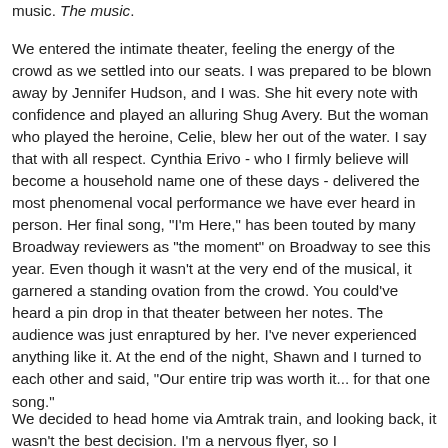music. The music.
We entered the intimate theater, feeling the energy of the crowd as we settled into our seats. I was prepared to be blown away by Jennifer Hudson, and I was. She hit every note with confidence and played an alluring Shug Avery. But the woman who played the heroine, Celie, blew her out of the water. I say that with all respect. Cynthia Erivo - who I firmly believe will become a household name one of these days - delivered the most phenomenal vocal performance we have ever heard in person. Her final song, "I'm Here," has been touted by many Broadway reviewers as "the moment" on Broadway to see this year. Even though it wasn't at the very end of the musical, it garnered a standing ovation from the crowd. You could've heard a pin drop in that theater between her notes. The audience was just enraptured by her. I've never experienced anything like it. At the end of the night, Shawn and I turned to each other and said, "Our entire trip was worth it... for that one song."
We decided to head home via Amtrak train, and looking back, it wasn't the best decision. I'm a nervous flyer, so I